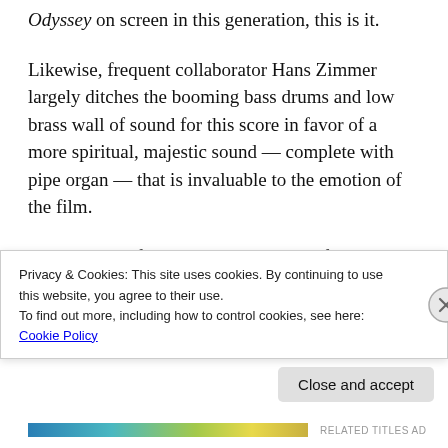Odyssey on screen in this generation, this is it.
Likewise, frequent collaborator Hans Zimmer largely ditches the booming bass drums and low brass wall of sound for this score in favor of a more spiritual, majestic sound — complete with pipe organ — that is invaluable to the emotion of the film.
On the topic of emotion, there's a significant amount at the heart of this film. Nolan is a master of ratcheting up the tension, providing
Privacy & Cookies: This site uses cookies. By continuing to use this website, you agree to their use.
To find out more, including how to control cookies, see here: Cookie Policy
Close and accept